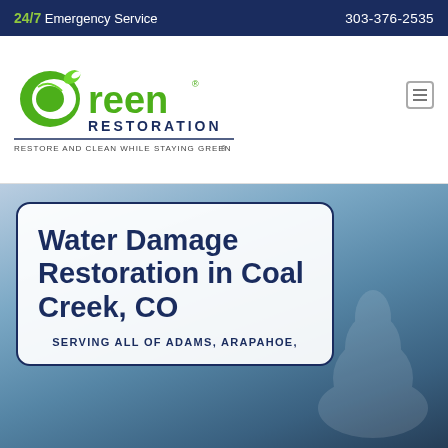24/7 Emergency Service   303-376-2535
[Figure (logo): Green Restoration logo with green leaf and text 'RESTORE AND CLEAN WHILE STAYING GREEN']
Water Damage Restoration in Coal Creek, CO
SERVING ALL OF ADAMS, ARAPAHOE,